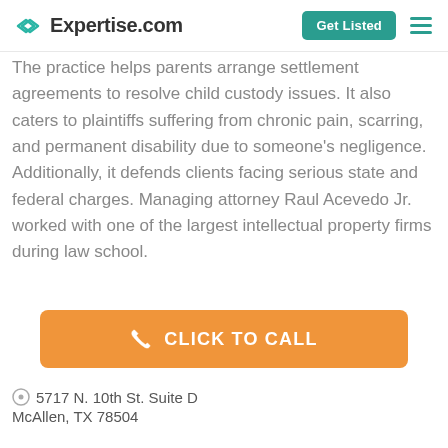Expertise.com
The practice helps parents arrange settlement agreements to resolve child custody issues. It also caters to plaintiffs suffering from chronic pain, scarring, and permanent disability due to someone's negligence. Additionally, it defends clients facing serious state and federal charges. Managing attorney Raul Acevedo Jr. worked with one of the largest intellectual property firms during law school.
CLICK TO CALL
5717 N. 10th St. Suite D
McAllen, TX 78504